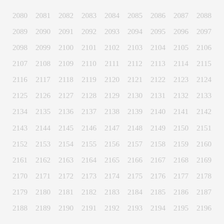2080 2081 2082 2083 2084 2085 2086 2087 2088
2089 2090 2091 2092 2093 2094 2095 2096 2097
2098 2099 2100 2101 2102 2103 2104 2105 2106
2107 2108 2109 2110 2111 2112 2113 2114 2115
2116 2117 2118 2119 2120 2121 2122 2123 2124
2125 2126 2127 2128 2129 2130 2131 2132 2133
2134 2135 2136 2137 2138 2139 2140 2141 2142
2143 2144 2145 2146 2147 2148 2149 2150 2151
2152 2153 2154 2155 2156 2157 2158 2159 2160
2161 2162 2163 2164 2165 2166 2167 2168 2169
2170 2171 2172 2173 2174 2175 2176 2177 2178
2179 2180 2181 2182 2183 2184 2185 2186 2187
2188 2189 2190 2191 2192 2193 2194 2195 2196